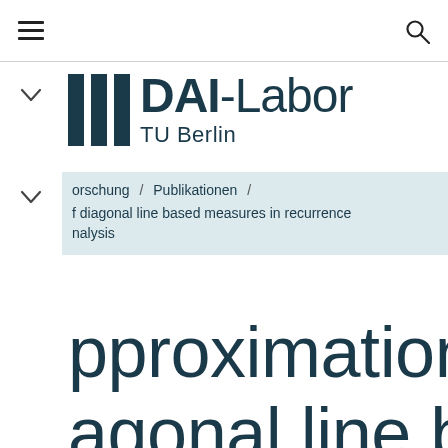≡  [hamburger menu]  [search icon]
[Figure (logo): DAI-Labor TU Berlin logo with three vertical dark bars and text]
Forschung / Publikationen / of diagonal line based measures in recurrence nalysis
pproximation of agonal line based sures in recurrence